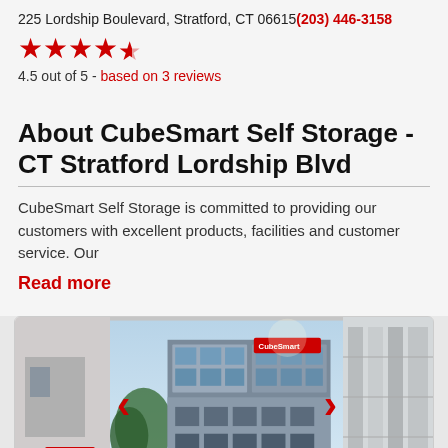225 Lordship Boulevard, Stratford, CT 06615(203) 446-3158
[Figure (other): 4.5 star rating shown with red filled stars]
4.5 out of 5 - based on 3 reviews
About CubeSmart Self Storage - CT Stratford Lordship Blvd
CubeSmart Self Storage is committed to providing our customers with excellent products, facilities and customer service. Our
Read more
[Figure (photo): Photo carousel showing CubeSmart Self Storage building exterior - a modern multi-story building with large glass windows and red signage, with partial views of additional images on left and right sides. Navigation arrows on each side.]